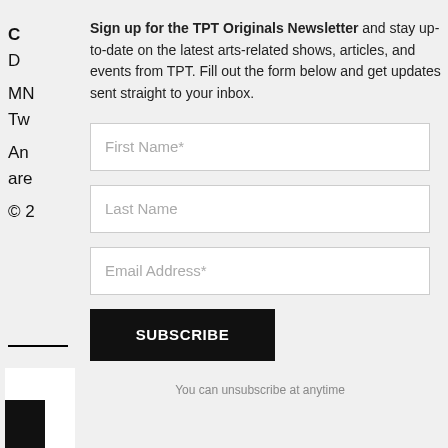Sign up for the TPT Originals Newsletter and stay up-to-date on the latest arts-related shows, articles, and events from TPT. Fill out the form below and get updates sent straight to your inbox.
First Name*
Last Name
Email Address*
SUBSCRIBE
You can unsubscribe at anytime